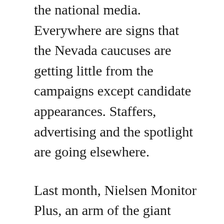the national media. Everywhere are signs that the Nevada caucuses are getting little from the campaigns except candidate appearances. Staffers, advertising and the spotlight are going elsewhere.
Last month, Nielsen Monitor Plus, an arm of the giant television ratings service, reported that Democratic and Republican presidential campaign advertising was going principally to New Hampshire and Iowa, with lesser amounts in Vermont, South Carolina